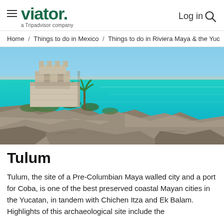viator. a Tripadvisor company | Log in
Home / Things to do in Mexico / Things to do in Riviera Maya & the Yuc
[Figure (photo): Aerial photo of the ancient Mayan ruins of Tulum perched on rocky cliffs above vivid turquoise Caribbean sea water, with a palm tree and clear blue sky in the background.]
Tulum
Tulum, the site of a Pre-Columbian Maya walled city and a port for Coba, is one of the best preserved coastal Mayan cities in the Yucatan, in tandem with Chichen Itza and Ek Balam. Highlights of this archaeological site include the